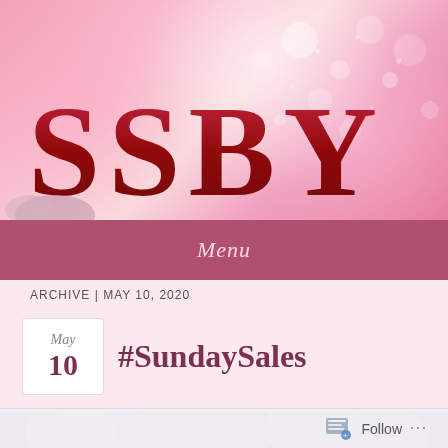[Figure (photo): Pink bokeh background with large red decorative letters SSBR partially visible]
Menu
ARCHIVE | MAY 10, 2020
#SundaySales
[Figure (photo): Close-up photo of pink daisy flowers with yellow centers on a dark pink/purple background]
Follow ...